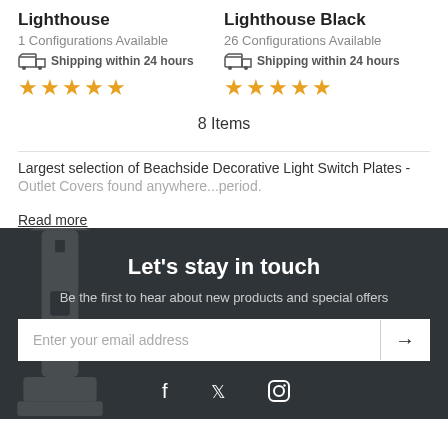Lighthouse
1 Configurations Available
Shipping within 24 hours
Lighthouse Black
26 Configurations Available
Shipping within 24 hours
8 Items
Largest selection of Beachside Decorative Light Switch Plates - Outlet Covers found anywhere...period.
Read more
Let's stay in touch
Be the first to hear about new products and special offers
Enter your email address